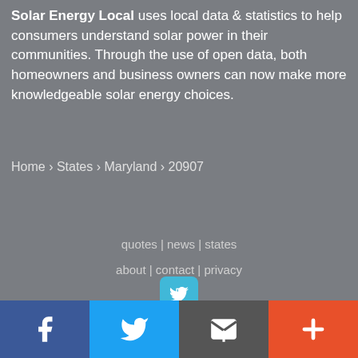Solar Energy Local uses local data & statistics to help consumers understand solar power in their communities. Through the use of open data, both homeowners and business owners can now make more knowledgeable solar energy choices.
Home › States › Maryland › 20907
quotes | news | states
about | contact | privacy
[Figure (logo): Twitter bird icon in a rounded cyan/blue square]
© Copyright 2022 Solar Energy Local
Facebook | Twitter | Email | Plus social share buttons